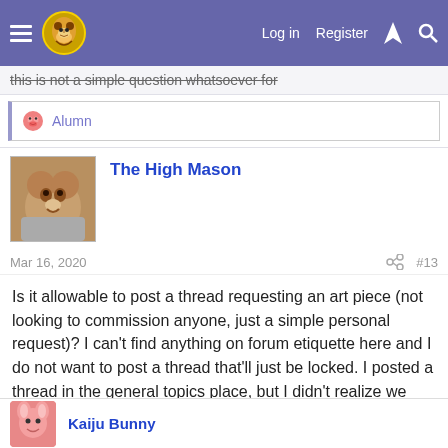Log in  Register
this is not a simple question whatsoever for
Alumn
The High Mason
Mar 16, 2020  #13
Is it allowable to post a thread requesting an art piece (not looking to commission anyone, just a simple personal request)? I can't find anything on forum etiquette here and I do not want to post a thread that'll just be locked. I posted a thread in the general topics place, but I didn't realize we had an art subforum here.

Thank you
Kaiju Bunny